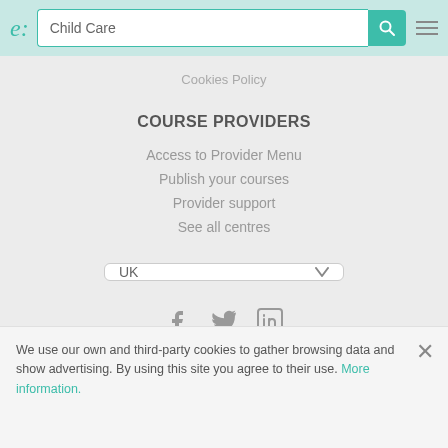e: [logo] | Child Care [search] | [hamburger menu]
Cookies Policy
COURSE PROVIDERS
Access to Provider Menu
Publish your courses
Provider support
See all centres
UK [dropdown]
[Figure (other): Social media icons: Facebook, Twitter, LinkedIn]
[Figure (other): Partner logos: Plan Avanza, and EU/Union Europea logos]
We use our own and third-party cookies to gather browsing data and show advertising. By using this site you agree to their use. More information.